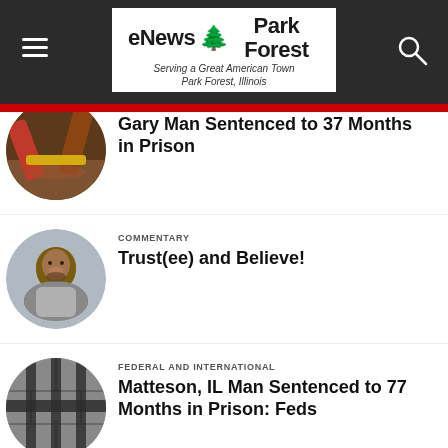eNews Park Forest — Serving a Great American Town, Park Forest, Illinois
Gary Man Sentenced to 37 Months in Prison
COMMENTARY
Trust(ee) and Believe!
FEDERAL AND INTERNATIONAL
Matteson, IL Man Sentenced to 77 Months in Prison: Feds